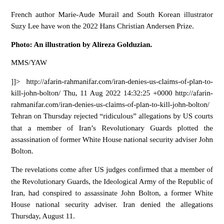French author Marie-Aude Murail and South Korean illustrator Suzy Lee have won the 2022 Hans Christian Andersen Prize.
Photo: An illustration by Alireza Golduzian.
MMS/YAW
]]> http://afarin-rahmanifar.com/iran-denies-us-claims-of-plan-to-kill-john-bolton/ Thu, 11 Aug 2022 14:32:25 +0000 http://afarin-rahmanifar.com/iran-denies-us-claims-of-plan-to-kill-john-bolton/ Tehran on Thursday rejected “ridiculous” allegations by US courts that a member of Iran’s Revolutionary Guards plotted the assassination of former White House national security adviser John Bolton.
The revelations come after US judges confirmed that a member of the Revolutionary Guards, the Ideological Army of the Republic of Iran, had conspired to assassinate John Bolton, a former White House national security adviser. Iran denied the allegations Thursday, August 11.
Iranian Foreign Ministry spokesman Nasser Kanani called them “ridiculous”. “The American judicial officers made allegations without providing valid proof”, he denounced.